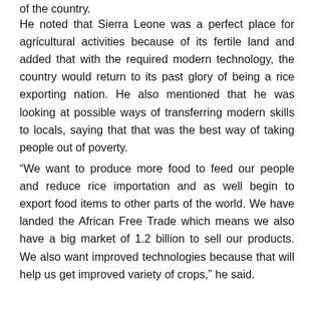of the country.
He noted that Sierra Leone was a perfect place for agricultural activities because of its fertile land and added that with the required modern technology, the country would return to its past glory of being a rice exporting nation. He also mentioned that he was looking at possible ways of transferring modern skills to locals, saying that that was the best way of taking people out of poverty.
“We want to produce more food to feed our people and reduce rice importation and as well begin to export food items to other parts of the world. We have landed the African Free Trade which means we also have a big market of 1.2 billion to sell our products. We also want improved technologies because that will help us get improved variety of crops,” he said.